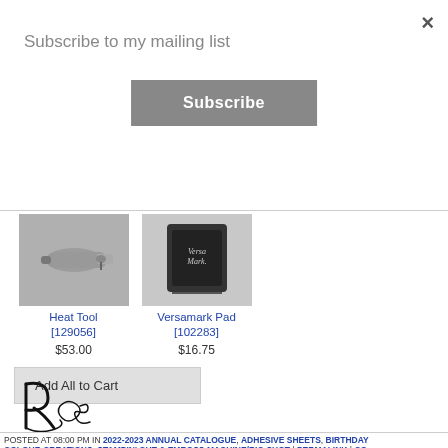Subscribe to my mailing list
Subscribe
×
[Figure (photo): Photo of a Heat Tool product (metallic tool)]
Heat Tool [129056] $53.00
[Figure (photo): Photo of a Versamark Pad product (black ink pad with logo)]
Versamark Pad [102283] $16.75
Add All to Cart
[Figure (illustration): Handwritten cursive signature 'Ros']
POSTED AT 08:00 PM IN 2022-2023 ANNUAL CATALOGUE, ADHESIVE SHEETS, BIRTHDAY COLOUR CREATIONS, STAMPIN' CUT & EMBOSS MACHINE/BIG SHOT | PERMALINK | CO...